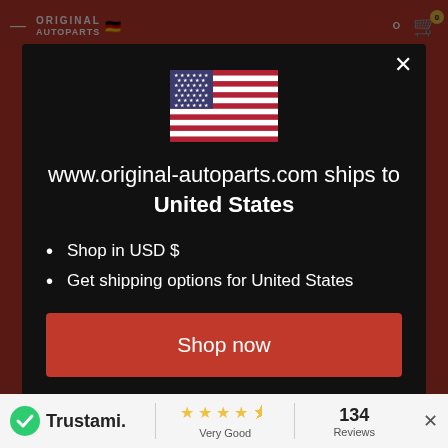[Figure (screenshot): Website header with red background, hamburger menu, 'ORIGINAL AUTOPARTS' logo with German flag icon, search icon, and cart icon with badge showing 0]
[Figure (illustration): United States flag]
www.original-autoparts.com ships to United States
Shop in USD $
Get shipping options for United States
Shop now
Change shipping country
[Figure (logo): Trustami badge with green icon and 'Trustami.' text, followed by star rating 'Very Good' and '134 Reviews']